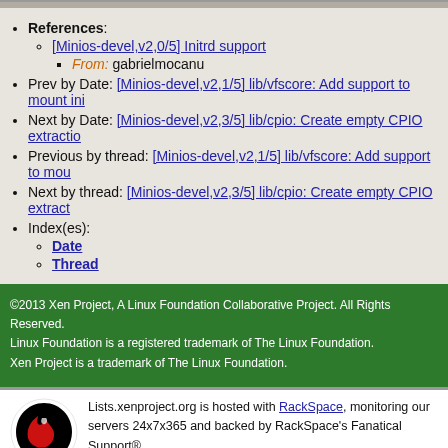References:
[Minios-devel,v2,0/5] Initrd support
From: gabrielmocanu
Prev by Date: [Minios-devel,v2,1/5] lib/vfscore: Add support to mount ini...
Next by Date: [Minios-devel,v2,3/5] lib/cpio: Create empty CPIO extractio...
Previous by thread: [Minios-devel,v2,1/5] lib/vfscore: Add support to mou...
Next by thread: [Minios-devel,v2,3/5] lib/cpio: Create empty CPIO extract...
Index(es):
Date
Thread
©2013 Xen Project, A Linux Foundation Collaborative Project. All Rights Reserved. Linux Foundation is a registered trademark of The Linux Foundation. Xen Project is a trademark of The Linux Foundation.
Lists.xenproject.org is hosted with RackSpace, monitoring our servers 24x7x365 and backed by RackSpace's Fanatical Support®.